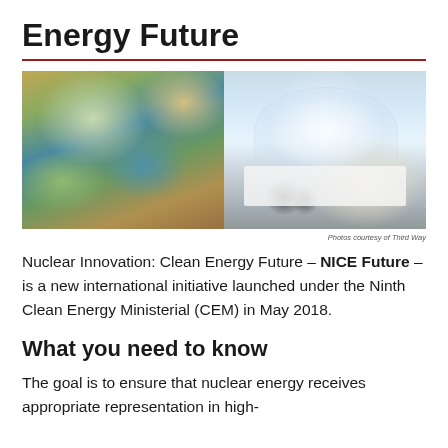Energy Future
[Figure (photo): Two side-by-side aerial/architectural renderings: left shows a futuristic nuclear facility complex with circular structures viewed from above in a desert landscape; right shows a geodesic dome structure and modern white building in a snowy mountain setting. Photos courtesy of Third Way.]
Photos courtesy of Third Way
Nuclear Innovation: Clean Energy Future – NICE Future – is a new international initiative launched under the Ninth Clean Energy Ministerial (CEM) in May 2018.
What you need to know
The goal is to ensure that nuclear energy receives appropriate representation in high-